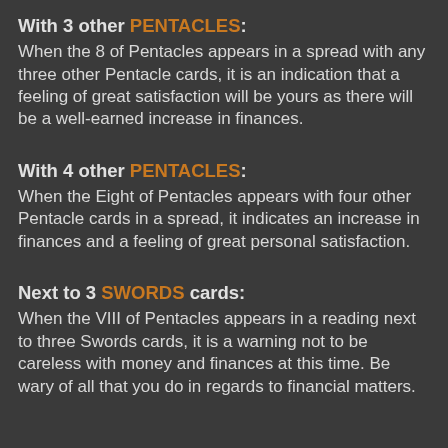With 3 other PENTACLES:
When the 8 of Pentacles appears in a spread with any three other Pentacle cards, it is an indication that a feeling of great satisfaction will be yours as there will be a well-earned increase in finances.
With 4 other PENTACLES:
When the Eight of Pentacles appears with four other Pentacle cards in a spread, it indicates an increase in finances and a feeling of great personal satisfaction.
Next to 3 SWORDS cards:
When the VIII of Pentacles appears in a reading next to three Swords cards, it is a warning not to be careless with money and finances at this time. Be wary of all that you do in regards to financial matters.